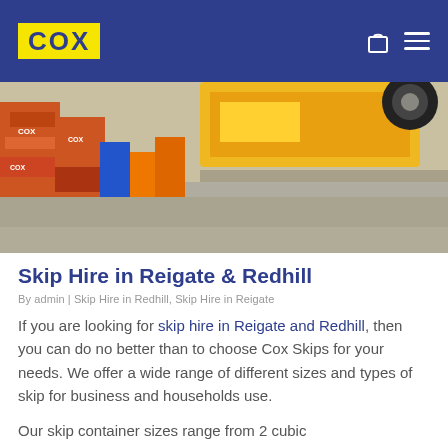COX
[Figure (photo): Aerial or angled view of construction equipment yard showing orange barriers with COX branding, yellow machinery/skip truck, and a tyre visible at edge]
Skip Hire in Reigate & Redhill
By admin | Skip Hire in Redhill, Skip Hire in Reigate
If you are looking for skip hire in Reigate and Redhill, then you can do no better than to choose Cox Skips for your needs. We offer a wide range of different sizes and types of skip for business and households use.
Our skip container sizes range from 2 cubic